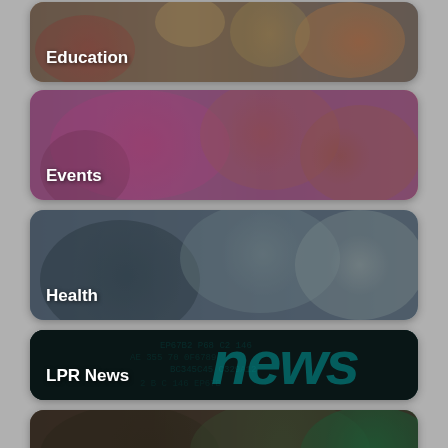[Figure (photo): Card with children in a classroom, overlaid with the label 'Education']
[Figure (photo): Card with colorful sports/events crowd photo, overlaid with the label 'Events']
[Figure (photo): Card with health/fitness photo, overlaid with the label 'Health']
[Figure (photo): Dark card with 'news' typography background, overlaid with the label 'LPR News']
[Figure (photo): Card with sports network photo, overlaid with the label 'LPR Sports Network']